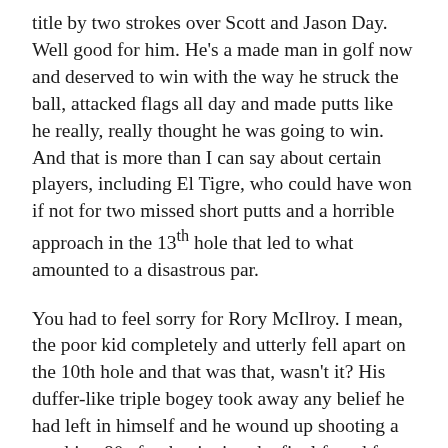title by two strokes over Scott and Jason Day. Well good for him. He's a made man in golf now and deserved to win with the way he struck the ball, attacked flags all day and made putts like he really, really thought he was going to win. And that is more than I can say about certain players, including El Tigre, who could have won if not for two missed short putts and a horrible approach in the 13th hole that led to what amounted to a disastrous par.
You had to feel sorry for Rory McIlroy. I mean, the poor kid completely and utterly fell apart on the 10th hole and that was that, wasn't it? His duffer-like triple bogey took away any belief he had left in himself and he wound up shooting a crushing 80 after beginning the final found four strokes in the lead. Ouch. During the final hour and a half of the CBS broadcast I wondered where Rory was. Did he walk off the course? Did he faint on Amen's Corner? CBS didn't even show poor Rory and it was just as well, as the wheels continued to fall off with a Torsiello-like 43 on the final nine holes. I guess CBS isn't into showing train wrecks